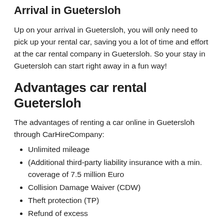Arrival in Guetersloh
Up on your arrival in Guetersloh, you will only need to pick up your rental car, saving you a lot of time and effort at the car rental company in Guetersloh. So your stay in Guetersloh can start right away in a fun way!
Advantages car rental Guetersloh
The advantages of renting a car online in Guetersloh through CarHireCompany:
Unlimited mileage
(Additional third-party liability insurance with a min. coverage of 7.5 million Euro
Collision Damage Waiver (CDW)
Theft protection (TP)
Refund of excess